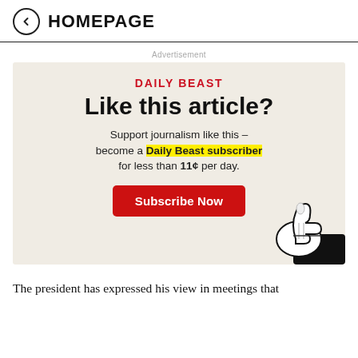HOMEPAGE
Advertisement
[Figure (infographic): Daily Beast subscription advertisement with red 'DAILY BEAST' brand name, headline 'Like this article?', body text 'Support journalism like this – become a Daily Beast subscriber for less than 11¢ per day.', a red 'Subscribe Now' button, and a cartoon thumbs-up hand illustration.]
The president has expressed his view in meetings that